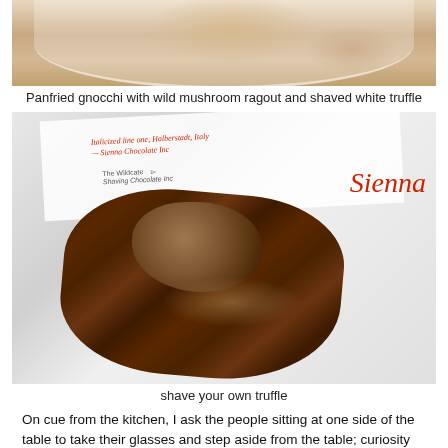[Figure (photo): Top portion of a plate with panfried gnocchi, wild mushroom ragout and shaved white truffle, showing close-up of dish on white plate]
Panfried gnocchi with wild mushroom ragout and shaved white truffle
[Figure (photo): A rustic dark wood truffle shaver board with a whole white truffle and scattered shavings on it, placed on a white tablecloth next to a restaurant menu and a place card reading 'Sienna']
shave your own truffle
On cue from the kitchen, I ask the people sitting at one side of the table to take their glasses and step aside from the table; curiosity